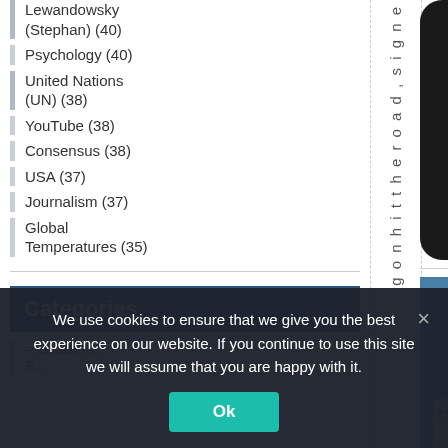Lewandowsky (Stephan) (40)
Psychology (40)
United Nations (UN) (38)
YouTube (38)
Consensus (38)
USA (37)
Journalism (37)
Global Temperatures (35)
Categories
– Guide for S...
[Figure (photo): Screenshot of a smartphone app showing a grid of tiles including nature images and icons]
[Figure (illustration): Climategate: 30 Years in the Making Timeline - promotional graphic with colored timeline chart]
We use cookies to ensure that we give you the best experience on our website. If you continue to use this site we will assume that you are happy with it.